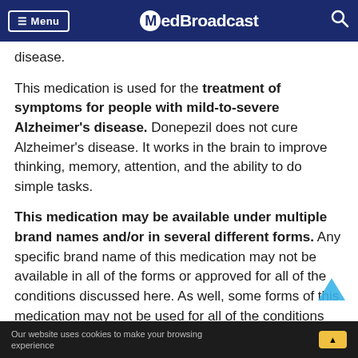Menu | MedBroadcast
disease.
This medication is used for the treatment of symptoms for people with mild-to-severe Alzheimer's disease. Donepezil does not cure Alzheimer's disease. It works in the brain to improve thinking, memory, attention, and the ability to do simple tasks.
This medication may be available under multiple brand names and/or in several different forms. Any specific brand name of this medication may not be available in all of the forms or approved for all of the conditions discussed here. As well, some forms of this medication may not be used for all of the conditions discussed here.
Our website uses cookies to make your browsing experience